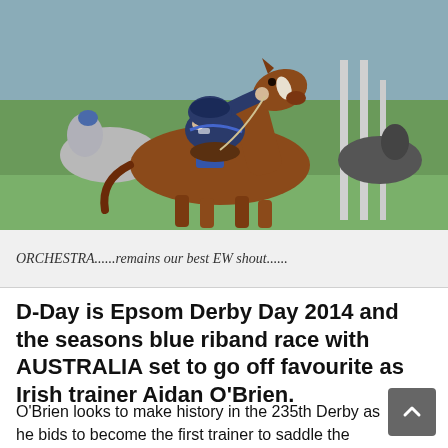[Figure (photo): A jockey in dark blue silks riding a brown/bay horse during a race, leaning forward in racing position. Other horses visible behind. Green grass and white railings in background.]
ORCHESTRA......remains our best EW shout......
D-Day is Epsom Derby Day 2014 and the seasons blue riband race with AUSTRALIA set to go off favourite as Irish trainer Aidan O'Brien.
O'Brien looks to make history in the 235th Derby as he bids to become the first trainer to saddle the winner three years in a row.